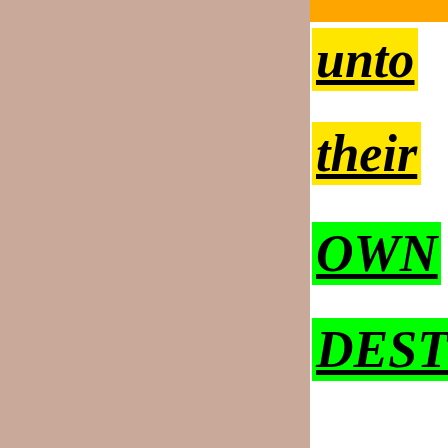unto
their
OWN
DESTRU
Th TRUE meaning of the LAW and the WORKS that we, as